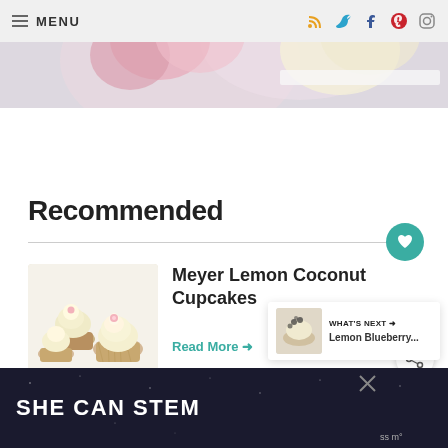MENU
[Figure (photo): Partial view of cupcakes with pink and cream frosting on a light background]
Recommended
[Figure (photo): Meyer Lemon Coconut Cupcakes with white frosting and pink flower decorations]
Meyer Lemon Coconut Cupcakes
Read More →
[Figure (photo): WHAT'S NEXT → Lemon Blueberry...]
[Figure (screenshot): SHE CAN STEM advertisement banner]